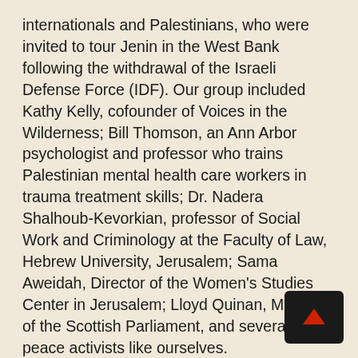internationals and Palestinians, who were invited to tour Jenin in the West Bank following the withdrawal of the Israeli Defense Force (IDF). Our group included Kathy Kelly, cofounder of Voices in the Wilderness; Bill Thomson, an Ann Arbor psychologist and professor who trains Palestinian mental health care workers in trauma treatment skills; Dr. Nadera Shalhoub-Kevorkian, professor of Social Work and Criminology at the Faculty of Law, Hebrew University, Jerusalem; Sama Aweidah, Director of the Women's Studies Center in Jerusalem; Lloyd Quinan, Member of the Scottish Parliament, and several peace activists like ourselves.
The Jenin camp, created in 1953, was one of the many areas that came under IDF attack in late March. During the battle for Jenin, at least 23 Israeli soldiers were killed as well as an unknown number of Palestinians. (Recent reports indicate that perhaps double that number of IDF soldiers perished, but it unconfirmed as of this writing.) Although the army...